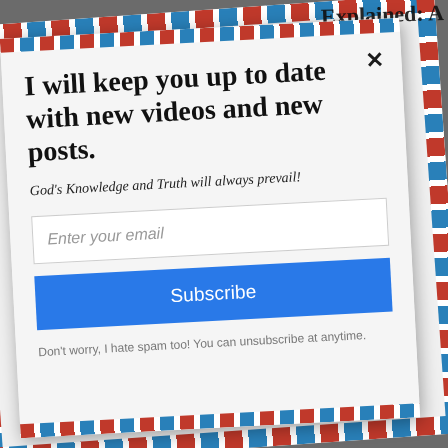I will keep you up to date with new videos and new posts.
God's Knowledge and Truth will always prevail!
Enter your email
Subscribe
Don't worry, I hate spam too! You can unsubscribe at anytime.